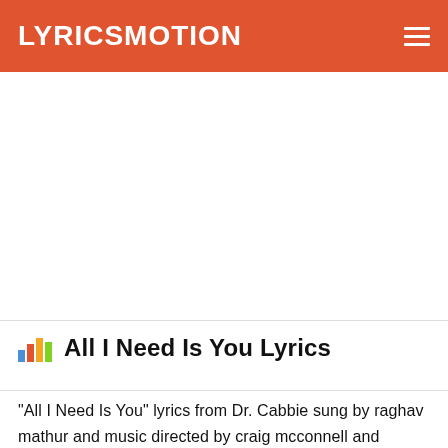LYRICSMOTION
All I Need Is You Lyrics
"All I Need Is You" lyrics from Dr. Cabbie sung by raghav mathur and music directed by craig mcconnell and composed by craig mcconnell and lyrics written by rakesh